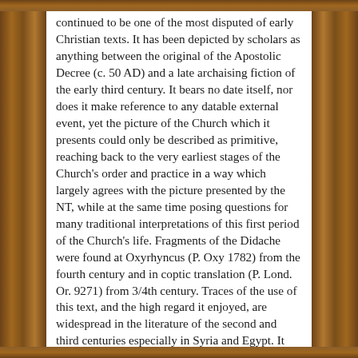continued to be one of the most disputed of early Christian texts. It has been depicted by scholars as anything between the original of the Apostolic Decree (c. 50 AD) and a late archaising fiction of the early third century. It bears no date itself, nor does it make reference to any datable external event, yet the picture of the Church which it presents could only be described as primitive, reaching back to the very earliest stages of the Church's order and practice in a way which largely agrees with the picture presented by the NT, while at the same time posing questions for many traditional interpretations of this first period of the Church's life. Fragments of the Didache were found at Oxyrhyncus (P. Oxy 1782) from the fourth century and in coptic translation (P. Lond. Or. 9271) from 3/4th century. Traces of the use of this text, and the high regard it enjoyed, are widespread in the literature of the second and third centuries especially in Syria and Egypt. It was used by the compilator